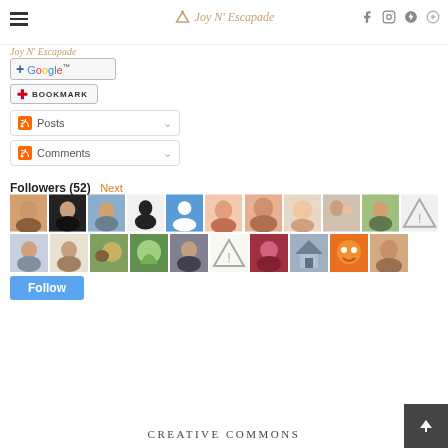Joy N' Escapade
Joy N' Escapade
[Figure (screenshot): + Google button]
[Figure (screenshot): Bookmark button]
[Figure (screenshot): RSS Posts feed button]
[Figure (screenshot): RSS Comments feed button]
Followers (52) Next
[Figure (photo): Grid of 20 follower avatar photos in two rows]
[Figure (screenshot): Follow button]
CREATIVE COMMONS